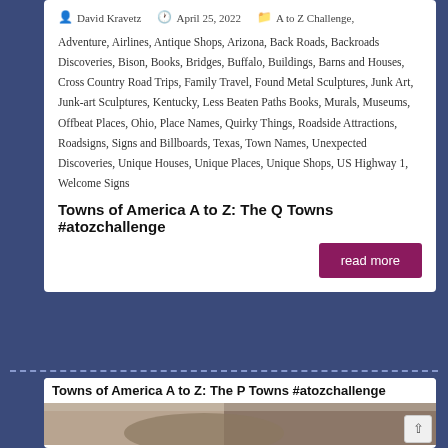David Kravetz  ·  April 25, 2022  ·  A to Z Challenge
Adventure, Airlines, Antique Shops, Arizona, Back Roads, Backroads Discoveries, Bison, Books, Bridges, Buffalo, Buildings, Barns and Houses, Cross Country Road Trips, Family Travel, Found Metal Sculptures, Junk Art, Junk-art Sculptures, Kentucky, Less Beaten Paths Books, Murals, Museums, Offbeat Places, Ohio, Place Names, Quirky Things, Roadside Attractions, Roadsigns, Signs and Billboards, Texas, Town Names, Unexpected Discoveries, Unique Houses, Unique Places, Unique Shops, US Highway 1, Welcome Signs
Towns of America A to Z: The Q Towns #atozchallenge
read more
Towns of America A to Z: The P Towns #atozchallenge
[Figure (photo): Photo of a person wearing a camouflage cap, shot from below inside a building with a metal roof structure visible in the background.]